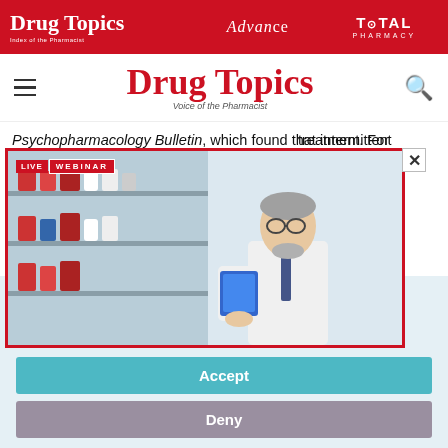Drug Topics | Advance | TOTAL PHARMACY
Drug Topics — Voice of the Pharmacist
Psychopharmacology Bulletin, which found that intermittent treatment. For ing the luteal onset of dosing.
[Figure (photo): Live webinar banner showing a pharmacist in a white coat holding a tablet device, standing in front of pharmacy shelves with medications]
This website stores data such as cookies to enable essential site functionality, as well as marketing, personalization, and analytics. Cookie Policy
Accept
Deny